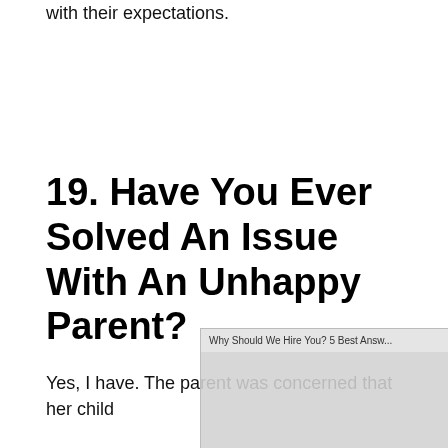with their expectations.
19. Have You Ever Solved An Issue With An Unhappy Parent?
Yes, I have. The parent was concerned that her child
[Figure (screenshot): Ad overlay showing 'Why Should We Hire You? 5 Best Answ...' with text 'No compatible source was found for this media.' and large gold text 'SHOULD WE HIRE YOU?' with an X button and '5 Best Answers' text, partially covering the page content.]